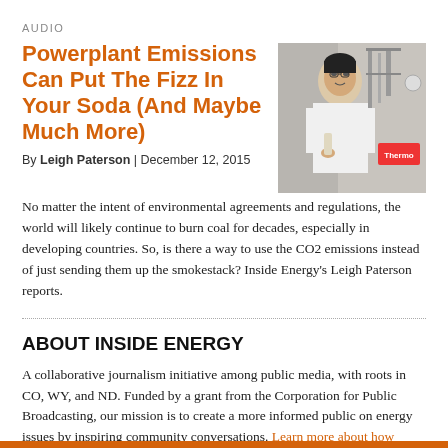AUDIO
Powerplant Emissions Can Put The Fizz In Your Soda (And Maybe Much More)
By Leigh Paterson | December 12, 2015
[Figure (photo): Person in lab coat working with laboratory equipment]
No matter the intent of environmental agreements and regulations, the world will likely continue to burn coal for decades, especially in developing countries. So, is there a way to use the CO2 emissions instead of just sending them up the smokestack? Inside Energy's Leigh Paterson reports.
ABOUT INSIDE ENERGY
A collaborative journalism initiative among public media, with roots in CO, WY, and ND. Funded by a grant from the Corporation for Public Broadcasting, our mission is to create a more informed public on energy issues by inspiring community conversations. Learn more about how Inside Energy is funded.